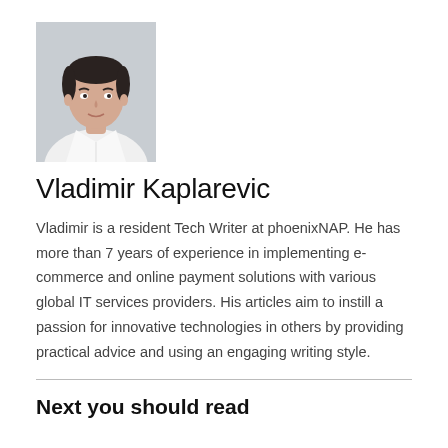[Figure (photo): Headshot of Vladimir Kaplarevic, a young man with dark hair wearing a white shirt, photographed in front of a light grey background.]
Vladimir Kaplarevic
Vladimir is a resident Tech Writer at phoenixNAP. He has more than 7 years of experience in implementing e-commerce and online payment solutions with various global IT services providers. His articles aim to instill a passion for innovative technologies in others by providing practical advice and using an engaging writing style.
Next you should read